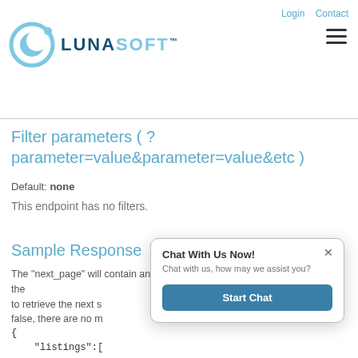Login  Contact
[Figure (logo): LunaSoft logo with crescent moon icon and company name in blue tones]
Filter parameters ( ? parameter=value&parameter=value&etc )
Default: none
This endpoint has no filters.
Sample Response
The "next_page" will contain an integer for the next page number to retrieve the next s… false, there are no m…
{
    "listings":[
[Figure (screenshot): Chat With Us Now! popup dialog with close button (x), subtitle 'Chat with us, how may we assist you?' and a blue 'Start Chat' button]